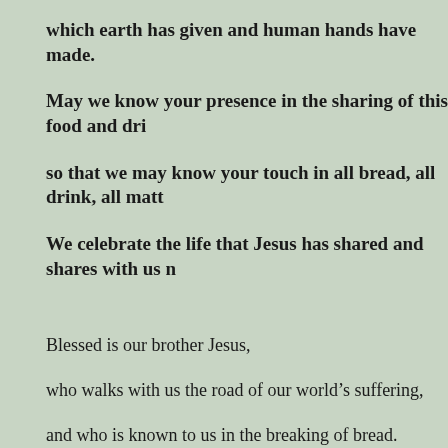which earth has given and human hands have made.
May we know your presence in the sharing of this food and dri
so that we may know your touch in all bread, all drink, all matt
We celebrate the life that Jesus has shared and shares with us n
Blessed is our brother Jesus,
who walks with us the road of our world’s suffering,
and who is known to us in the breaking of bread.
On the night of his arrest Jesus took bread